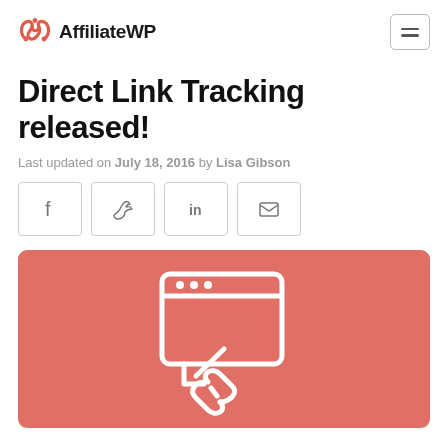AffiliateWP
Direct Link Tracking released!
Last updated on July 18, 2016 by Lisa Gibson
[Figure (other): Social share buttons: Facebook, Twitter, LinkedIn, Email]
[Figure (illustration): Red/coral background hero image with white icon of a browser window containing a link/chain icon with an arrow]